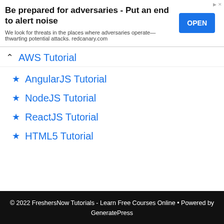[Figure (other): Advertisement banner: 'Be prepared for adversaries - Put an end to alert noise. We look for threats in the places where adversaries operate—thwarting potential attacks. redcanary.com' with a blue OPEN button.]
AWS Tutorial
★ AngularJS Tutorial
★ NodeJS Tutorial
★ ReactJS Tutorial
★ HTML5 Tutorial
© 2022 FreshersNow Tutorials - Learn Free Courses Online • Powered by GeneratePress